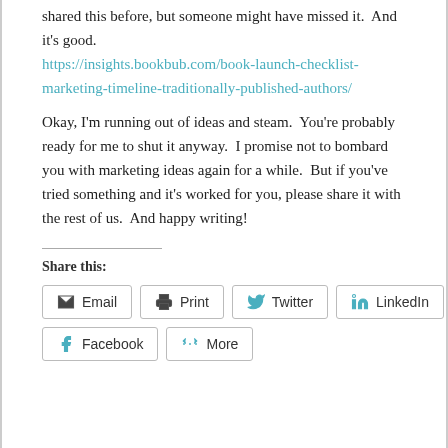shared this before, but someone might have missed it.  And it's good.
https://insights.bookbub.com/book-launch-checklist-marketing-timeline-traditionally-published-authors/
Okay, I'm running out of ideas and steam.  You're probably ready for me to shut it anyway.  I promise not to bombard you with marketing ideas again for a while.  But if you've tried something and it's worked for you, please share it with the rest of us.  And happy writing!
Share this:
Email  Print  Twitter  LinkedIn  Facebook  More